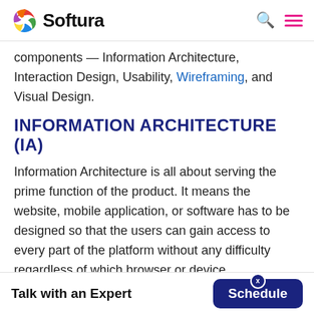Softura
components — Information Architecture, Interaction Design, Usability, Wireframing, and Visual Design.
INFORMATION ARCHITECTURE (IA)
Information Architecture is all about serving the prime function of the product. It means the website, mobile application, or software has to be designed so that the users can gain access to every part of the platform without any difficulty regardless of which browser or device
Talk with an Expert   Schedule